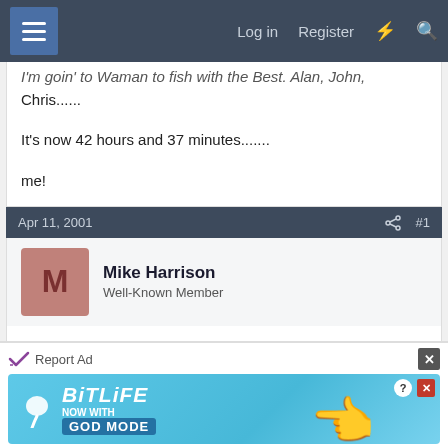Log in  Register
I'm goin' to Waman to fish with the Best. Alan, John, Chris......

It's now 42 hours and 37 minutes.......

me!
Apr 11, 2001  #1
Mike Harrison
Well-Known Member
hey, don't forget me scott!!!!! without me, there'd be no BBQ stuff
Report Ad
[Figure (screenshot): BitLife advertisement banner with 'NOW WITH GOD MODE' text and pointing hand graphic]